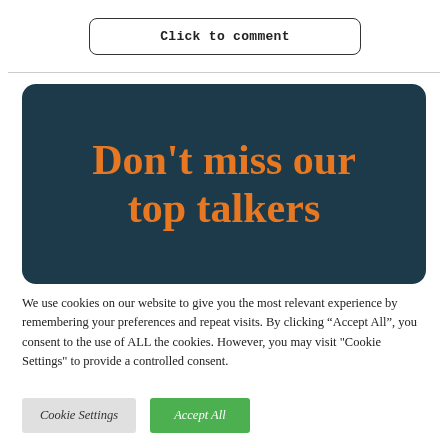Click to comment
[Figure (other): Dark teal rounded rectangle banner with large bold orange text reading 'Don't miss our top talkers']
We use cookies on our website to give you the most relevant experience by remembering your preferences and repeat visits. By clicking “Accept All”, you consent to the use of ALL the cookies. However, you may visit "Cookie Settings" to provide a controlled consent.
Cookie Settings
Accept All